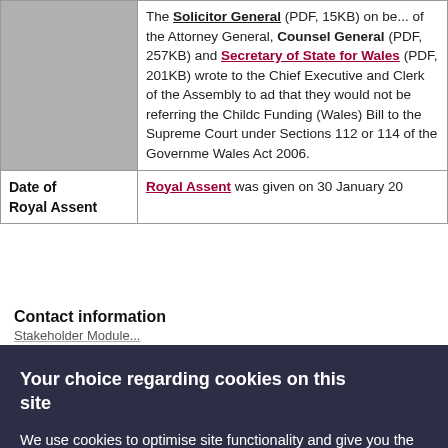|  |  |
| --- | --- |
|  | The Solicitor General (PDF, 15KB) on behalf of the Attorney General, Counsel General (PDF, 257KB) and Secretary of State for Wales (PDF, 201KB) wrote to the Chief Executive and Clerk of the Assembly to advise that they would not be referring the Childcare Funding (Wales) Bill to the Supreme Court under Sections 112 or 114 of the Government of Wales Act 2006. |
| Date of Royal Assent | Royal Assent was given on 30 January 20... |
Contact information
Stakeholder Module...
Your choice regarding cookies on this site
We use cookies to optimise site functionality and give you the best possible experience.
Accept | Reject | Cookie Preferences | X